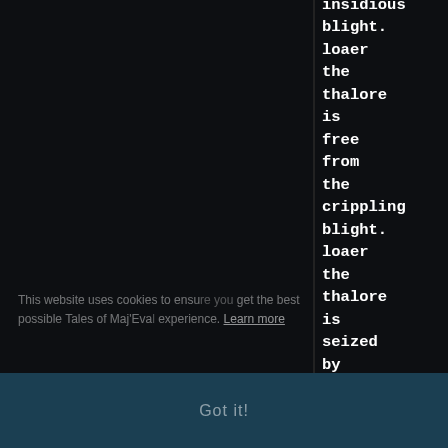insidious blight. loaer the thalore is free from the crippling blight. loaer the thalore is seized by a fey mood! loaer the thalore
This website uses cookies to ensure you get the best possible Tales of Maj'Eyal experience. Learn more
Got it!